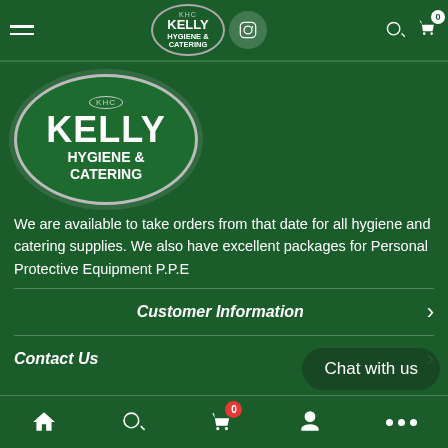Kelly Hygiene & Catering - navigation bar with hamburger menu, logo, Instagram icon, search and cart icons
[Figure (logo): Kelly Hygiene & Catering oval logo with KHC badge, large version in green oval with silver border]
We are available to take orders from that date for all hygiene and catering supplies. We also have excellent packages for Personal Protective Equipment P.P.E
Customer Information
Contact Us
Chat with us
Bottom navigation bar: home, search, cart (0), account, more